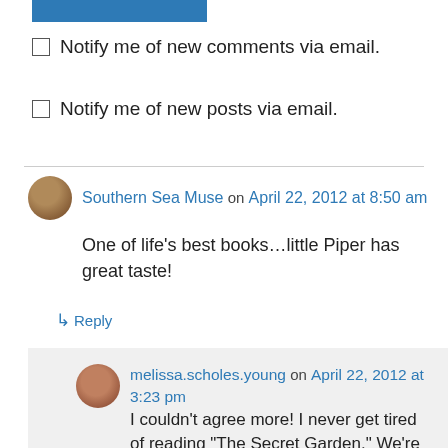[Figure (other): Blue submit button partially visible at top]
Notify me of new comments via email.
Notify me of new posts via email.
Southern Sea Muse on April 22, 2012 at 8:50 am
One of life’s best books…little Piper has great taste!
↳ Reply
melissa.scholes.young on April 22, 2012 at 3:23 pm
I couldn’t agree more! I never get tired of reading “The Secret Garden.” We’re